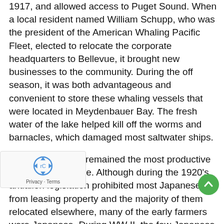1917, and allowed access to Puget Sound. When a local resident named William Schupp, who was the president of the American Whaling Pacific Fleet, elected to relocate the corporate headquarters to Bellevue, it brought new businesses to the community. During the off season, it was both advantageous and convenient to store these whaling vessels that were located in Meydenbauer Bay. The fresh water of the lake helped kill off the worms and barnacles, which damaged most saltwater ships.
However, farming remained the most productive industry in Bellevue. Although during the 1920's, antialien legislation prohibited most Japanese from leasing property and the majority of them relocated elsewhere, many of the early farmers were Japanese. During WW II, the few Japanese who remained lost a considerable amount of their property, when the Japanese had to live in internment camps for the remainder of the war.